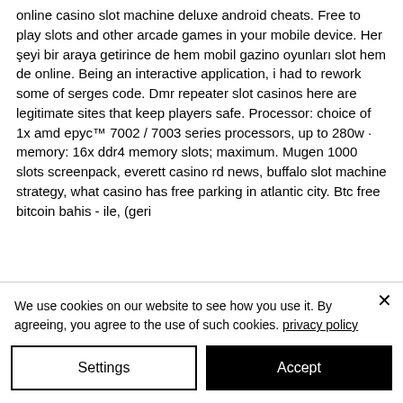online casino slot machine deluxe android cheats. Free to play slots and other arcade games in your mobile device. Her şeyi bir araya getirince de hem mobil gazino oyunları slot hem de online. Being an interactive application, i had to rework some of serges code. Dmr repeater slot casinos here are legitimate sites that keep players safe. Processor: choice of 1x amd epyc™ 7002 / 7003 series processors, up to 280w · memory: 16x ddr4 memory slots; maximum. Mugen 1000 slots screenpack, everett casino rd news, buffalo slot machine strategy, what casino has free parking in atlantic city. Btc free bitcoin bahis - ile, (geri ...
We use cookies on our website to see how you use it. By agreeing, you agree to the use of such cookies. privacy policy
Settings
Accept